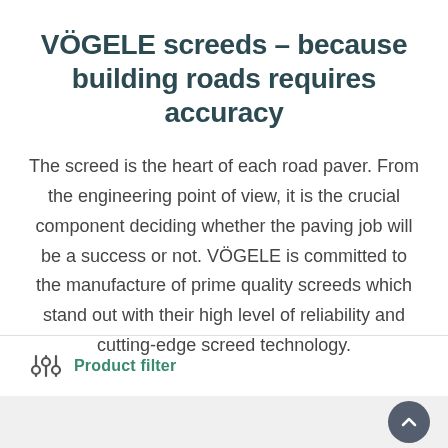VÖGELE screeds – because building roads requires accuracy
The screed is the heart of each road paver. From the engineering point of view, it is the crucial component deciding whether the paving job will be a success or not. VÖGELE is committed to the manufacture of prime quality screeds which stand out with their high level of reliability and cutting-edge screed technology.
Product filter